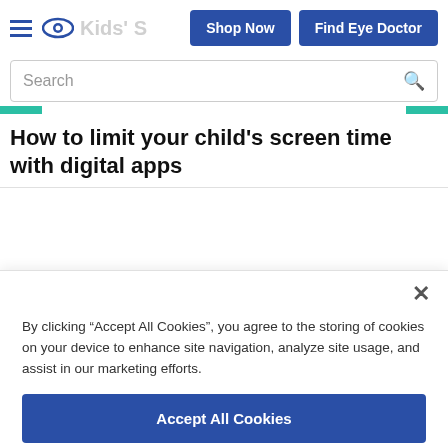Kids' S | Shop Now | Find Eye Doctor
Search
How to limit your child's screen time with digital apps
By clicking “Accept All Cookies”, you agree to the storing of cookies on your device to enhance site navigation, analyze site usage, and assist in our marketing efforts.
Accept All Cookies
Reject All
Cookies Settings